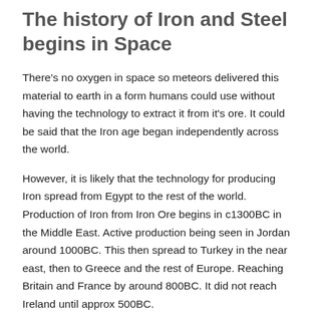The history of Iron and Steel begins in Space
There's no oxygen in space so meteors delivered this material to earth in a form humans could use without having the technology to extract it from it's ore. It could be said that the Iron age began independently across the world.
However, it is likely that the technology for producing Iron spread from Egypt to the rest of the world. Production of Iron from Iron Ore begins in c1300BC in the Middle East. Active production being seen in Jordan around 1000BC. This then spread to Turkey in the near east, then to Greece and the rest of Europe. Reaching Britain and France by around 800BC. It did not reach Ireland until approx 500BC.